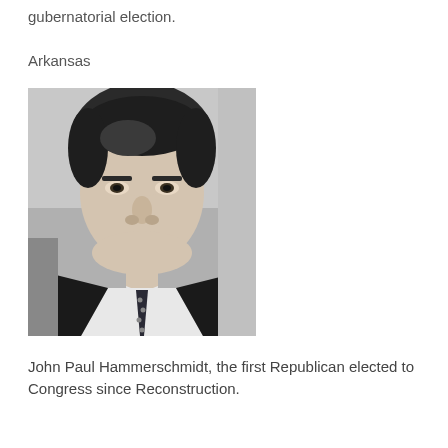gubernatorial election.
Arkansas
[Figure (photo): Black and white headshot portrait of John Paul Hammerschmidt, a middle-aged man in a dark suit and polka-dot tie, facing the camera.]
John Paul Hammerschmidt, the first Republican elected to Congress since Reconstruction.